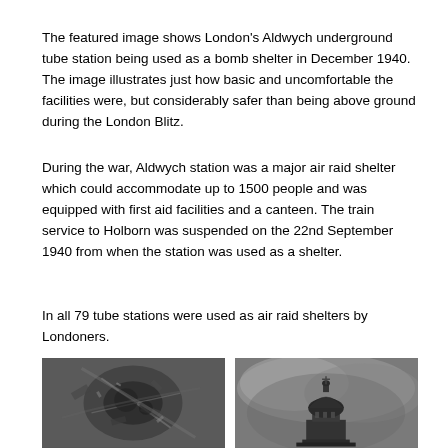The featured image shows London's Aldwych underground tube station being used as a bomb shelter in December 1940. The image illustrates just how basic and uncomfortable the facilities were, but considerably safer than being above ground during the London Blitz.
During the war, Aldwych station was a major air raid shelter which could accommodate up to 1500 people and was equipped with first aid facilities and a canteen. The train service to Holborn was suspended on the 22nd September 1940 from when the station was used as a shelter.
In all 79 tube stations were used as air raid shelters by Londoners.
[Figure (photo): Black and white aerial photograph showing bomb damage, rubble and destruction viewed from above]
[Figure (photo): Black and white photograph of St Paul's Cathedral dome rising through smoke and clouds during the London Blitz]